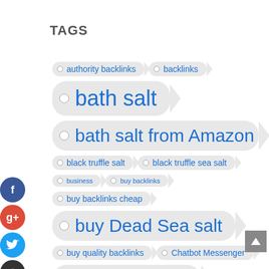TAGS
authority backlinks
backlinks
bath salt
bath salt from Amazon
black truffle salt
black truffle sea salt
business
buy backlinks
buy backlinks cheap
buy Dead Sea salt
buy quality backlinks
Chatbot Messenger
Dead Sea salt